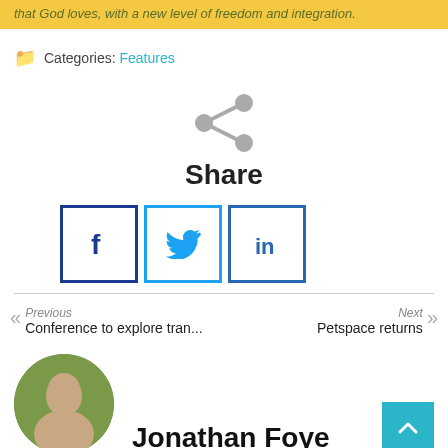that God loves, with a new level of freedom and integration.
Categories: Features
[Figure (illustration): Share icon (grey network/share symbol)]
Share
[Figure (illustration): Social share buttons: Facebook, Twitter, LinkedIn]
Previous
Conference to explore tran...
Next
Petspace returns
Jonathan Foye
[Figure (photo): Circular photo of Jonathan Foye, a man outdoors]